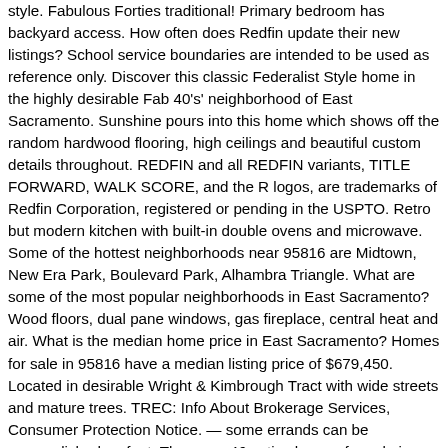style. Fabulous Forties traditional! Primary bedroom has backyard access. How often does Redfin update their new listings? School service boundaries are intended to be used as reference only. Discover this classic Federalist Style home in the highly desirable Fab 40's' neighborhood of East Sacramento. Sunshine pours into this home which shows off the random hardwood flooring, high ceilings and beautiful custom details throughout. REDFIN and all REDFIN variants, TITLE FORWARD, WALK SCORE, and the R logos, are trademarks of Redfin Corporation, registered or pending in the USPTO. Retro but modern kitchen with built-in double ovens and microwave. Some of the hottest neighborhoods near 95816 are Midtown, New Era Park, Boulevard Park, Alhambra Triangle. What are some of the most popular neighborhoods in East Sacramento? Wood floors, dual pane windows, gas fireplace, central heat and air. What is the median home price in East Sacramento? Homes for sale in 95816 have a median listing price of $679,450. Located in desirable Wright & Kimbrough Tract with wide streets and mature trees. TREC: Info About Brokerage Services, Consumer Protection Notice. — some errands can be accomplished on foot. There are 46 active homes for sale in 95816, which spend an average of 54 days on the market. View listing photos, review sales history, and use our detailed real estate filters to find the perfect place. Enjoy new home living just steps from Midtown and Downtown Sacramento. Use filters to narrow your search by price, square feet,